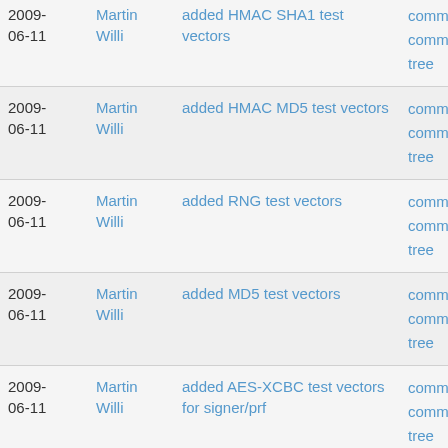| Date | Author | Description | Actions |
| --- | --- | --- | --- |
| 2009-06-11 | Martin Willi | added HMAC SHA1 test vectors | commit | commitdiff | tree |
| 2009-06-11 | Martin Willi | added HMAC MD5 test vectors | commit | commitdiff | tree |
| 2009-06-11 | Martin Willi | added RNG test vectors | commit | commitdiff | tree |
| 2009-06-11 | Martin Willi | added MD5 test vectors | commit | commitdiff | tree |
| 2009-06-11 | Martin Willi | added AES-XCBC test vectors for signer/prf | commit | commitdiff | tree |
| 2009-06-11 | Martin Willi | added test vectors for AES128 CBC | commit | commitdiff | tree |
| 2009-06-11 | Martin Willi | added blowfish test vectors from pluto | commit | commitdiff | tree |